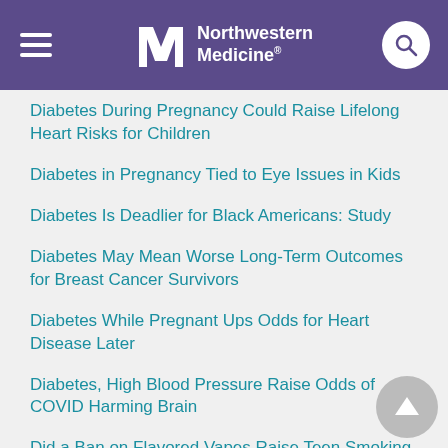Northwestern Medicine
Diabetes During Pregnancy Could Raise Lifelong Heart Risks for Children
Diabetes in Pregnancy Tied to Eye Issues in Kids
Diabetes Is Deadlier for Black Americans: Study
Diabetes May Mean Worse Long-Term Outcomes for Breast Cancer Survivors
Diabetes While Pregnant Ups Odds for Heart Disease Later
Diabetes, High Blood Pressure Raise Odds of COVID Harming Brain
Did a Ban on Flavored Vapes Raise Teen Smoking Rates?
Diet Drinks Don't Do Your Heart Any Favors